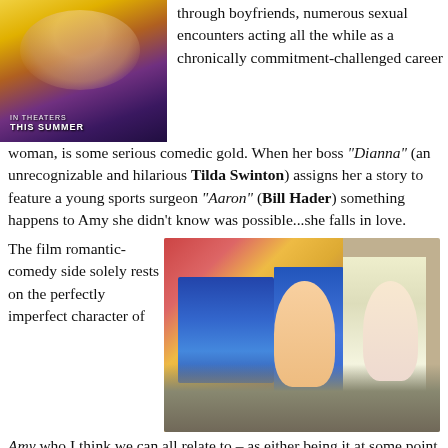[Figure (photo): Movie poster showing a woman in a yellow outfit with text 'In Theaters This Summer']
through boyfriends, numerous sexual encounters acting all the while as a chronically commitment-challenged career woman, is some serious comedic gold. When her boss “Dianna” (an unrecognizable and hilarious Tilda Swinton) assigns her a story to feature a young sports surgeon “Aaron” (Bill Hader) something happens to Amy she didn’t know was possible...she falls in love.
[Figure (photo): Scene from the film showing two women in an office setting, one in a blue dress and one in a white jacket, with a horror movie poster in the background]
The film romantic-comedy side solely rests on the perfectly imperfect character of Amy who I think we can all relate to – as either being it at some point in our own lives or in someone we know. I mean let’s be